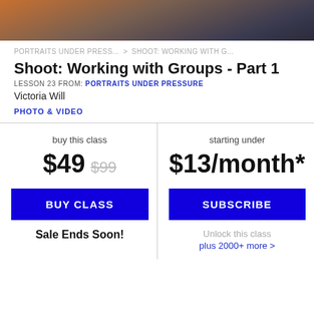[Figure (photo): Photo of a person sitting/crouching, partial view, warm sunset tones at top fading to dark blue jeans]
PORTRAITS UNDER PRESS... > SHOOT: WORKING WITH G...
Shoot: Working with Groups - Part 1
LESSON 23 FROM: PORTRAITS UNDER PRESSURE
Victoria Will
PHOTO & VIDEO
buy this class
$49  $99
BUY CLASS
Sale Ends Soon!
starting under
$13/month*
SUBSCRIBE
Unlock this class plus 2000+ more >